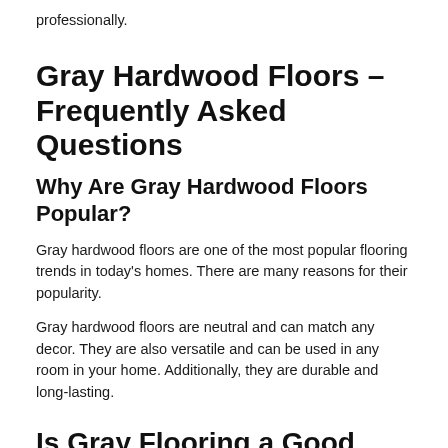professionally.
Gray Hardwood Floors – Frequently Asked Questions
Why Are Gray Hardwood Floors Popular?
Gray hardwood floors are one of the most popular flooring trends in today's homes. There are many reasons for their popularity.
Gray hardwood floors are neutral and can match any decor. They are also versatile and can be used in any room in your home. Additionally, they are durable and long-lasting.
Is Gray Flooring a Good Idea?
Gray flooring is a popular choice for many homeowners. It can